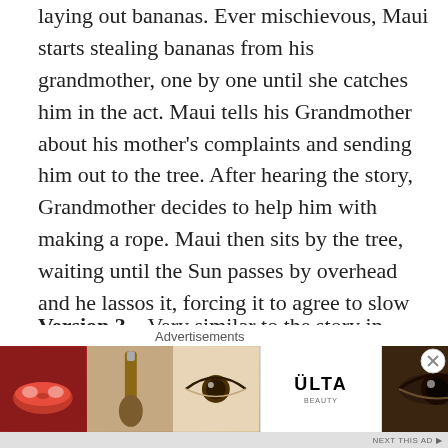laying out bananas. Ever mischievous, Maui starts stealing bananas from his grandmother, one by one until she catches him in the act. Maui tells his Grandmother about his mother's complaints and sending him out to the tree. After hearing the story, Grandmother decides to help him with making a rope. Maui then sits by the tree, waiting until the Sun passes by overhead and he lassos it, forcing it to agree to slow it's progress across the sky.
Version 3 – Very similar to the story in Version 2, Maui decides to slow down the sun after a man by the name of Moemoe taunts him and says it can't be done. Just to prove him wrong, Maui sets off to slow down the sun much like he did earlier with finding his grandmother and getting
[Figure (other): Ulta Beauty advertisement banner showing makeup imagery (lips, brush, eye), Ulta logo in center, and 'SHOP NOW' call to action on right]